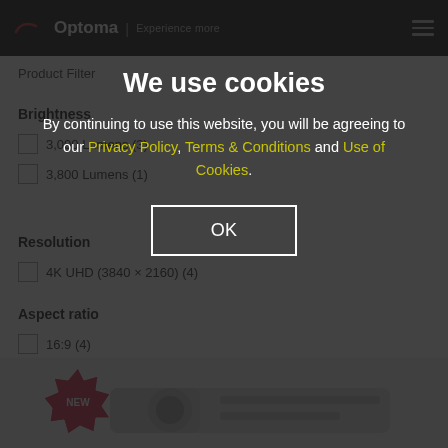Optoma | Experience more
We use cookies
By continuing to use this website, you will be agreeing to our Privacy Policy, Terms & Conditions and Use of Cookies.
OK
Product Filter
Brightness
3,000 Lumens (3)
3,800 Lumens (1)
Resolution
4K UHD (3840 × 2160) (4)
Aspect ratio
16:9 (4)
[Figure (photo): Optoma projector product thumbnail at bottom of page with NEW badge]